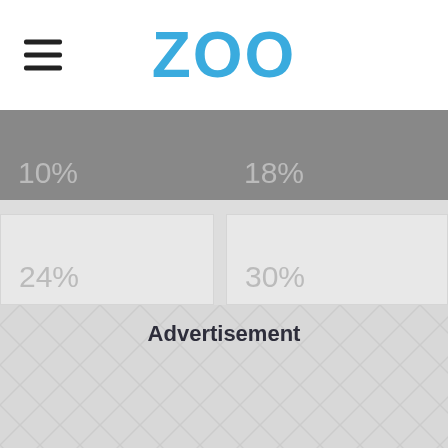ZOO
[Figure (infographic): Quiz result grid showing four percentage values: 10%, 18%, 24%, 30% in a 2x2 layout with dark gray top row and light gray bottom row]
Advertisement